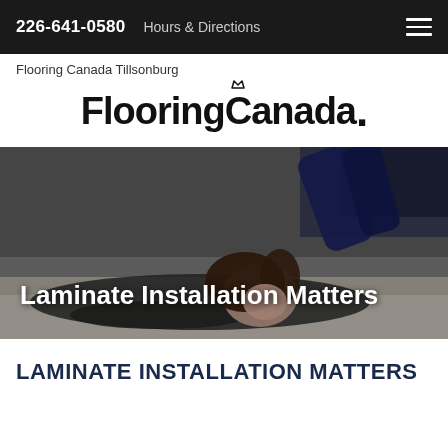226-641-0580   Hours & Directions
Flooring Canada Tillsonburg
[Figure (logo): FlooringCanada. wordmark logo in bold black with a small crown above the dot]
[Figure (photo): Woman lying on her stomach on a white fluffy carpet, resting her head on her hands, looking relaxed. Background is blurred indoor setting.]
Laminate Installation Matters
LAMINATE INSTALLATION MATTERS